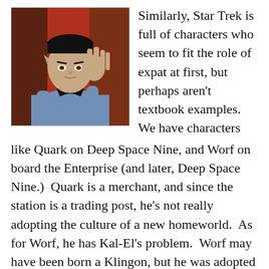[Figure (photo): Black and white photo of Mr. Spock from Star Trek giving the Vulcan salute, wearing blue uniform, against a red background]
Similarly, Star Trek is full of characters who seem to fit the role of expat at first, but perhaps aren't textbook examples. We have characters like Quark on Deep Space Nine, and Worf on board the Enterprise (and later, Deep Space Nine.) Quark is a merchant, and since the station is a trading post, he's not really adopting the culture of a new homeworld. As for Worf, he has Kal-El's problem. Worf may have been born a Klingon, but he was adopted by and raised by humans. His primary culture is the one that he's most commonly in touch with. Worf isn't an